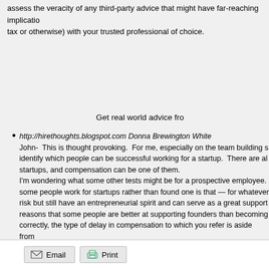assess the veracity of any third-party advice that might have far-reaching implications (tax or otherwise) with your trusted professional of choice.
Get real world advice fro
http://hirethoughts.blogspot.com Donna Brewington White
John-  This is thought provoking.  For me, especially on the team building s... identify which people can be successful working for a startup.  There are al... startups, and compensation can be one of them.
I'm wondering what some other tests might be for a prospective employee... some people work for startups rather than found one is that — for whatever... risk but still have an entrepreneurial spirit and can serve as a great support... reasons that some people are better at supporting founders than becoming... correctly, the type of delay in compensation to which you refer is aside from...
Email  Print